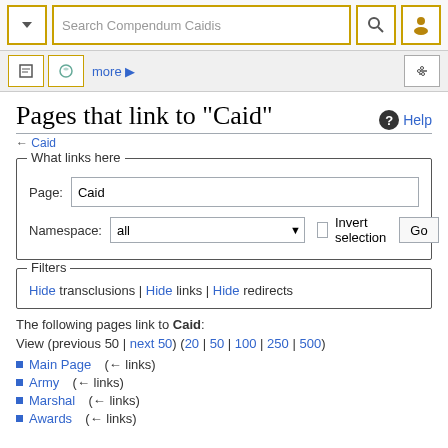Search Compendeum Caidis
Pages that link to "Caid"
← Caid
What links here
Page: Caid  Namespace: all  Invert selection  Go
Filters
Hide transclusions | Hide links | Hide redirects
The following pages link to Caid:
View (previous 50 | next 50) (20 | 50 | 100 | 250 | 500)
Main Page  (← links)
Army  (← links)
Marshal  (← links)
Awards  (← links)